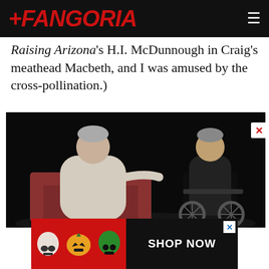FANGORIA
Raising Arizona's H.I. McDunnough in Craig's meathead Macbeth, and I was amused by the cross-pollination.)
[Figure (photo): Two men in conversation on a dark stage. Left man sits in a red armchair wearing a light outfit gesturing with his hand. Right man is seated in a wheelchair wearing dark clothes.]
[Figure (infographic): Advertisement banner with masked horror figures on red background and SHOP NOW button on black background with X close button.]